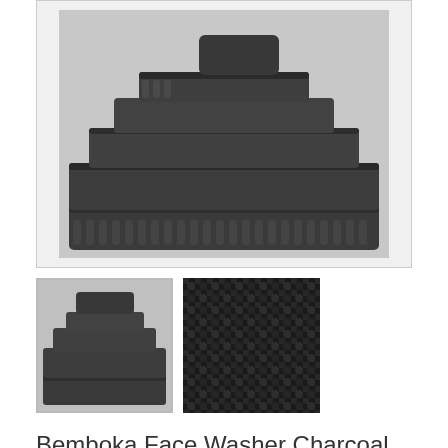[Figure (photo): Main product image showing a stack of charcoal/dark grey folded towels arranged in a pyramid shape against a light grey background]
[Figure (photo): Thumbnail image showing a smaller view of the stacked charcoal towels]
[Figure (photo): Thumbnail close-up showing the textured weave pattern of the charcoal fabric]
Bemboka Face Washer Charcoal
$12.95